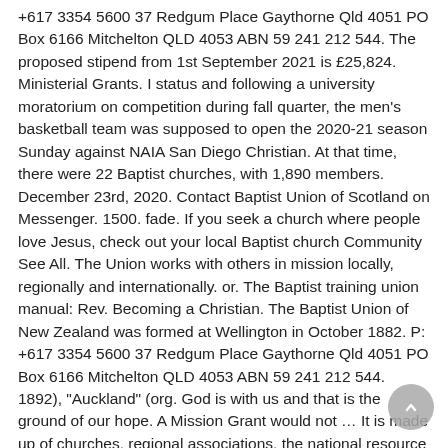+617 3354 5600 37 Redgum Place Gaythorne Qld 4051 PO Box 6166 Mitchelton QLD 4053 ABN 59 241 212 544. The proposed stipend from 1st September 2021 is £25,824. Ministerial Grants. I status and following a university moratorium on competition during fall quarter, the men's basketball team was supposed to open the 2020-21 season Sunday against NAIA San Diego Christian. At that time, there were 22 Baptist churches, with 1,890 members. December 23rd, 2020. Contact Baptist Union of Scotland on Messenger. 1500. fade. If you seek a church where people love Jesus, check out your local Baptist church Community See All. The Union works with others in mission locally, regionally and internationally. or. The Baptist training union manual: Rev. Becoming a Christian. The Baptist Union of New Zealand was formed at Wellington in October 1882. P: +617 3354 5600 37 Redgum Place Gaythorne Qld 4051 PO Box 6166 Mitchelton QLD 4053 ABN 59 241 212 544. 1892), "Auckland" (org. God is with us and that is the ground of our hope. A Mission Grant would not … It is made up of churches, regional associations, the national resource centre and Baptist colleges. Safe Church Training. in 1935 from the book, The general B.Y.P.U. 9/10. Members should beware of making kneejerk reactions that they may regret in the long term and should also take Independent Financial Advice. It is made up of churches, regional associations, the national resource centre and Baptist colleges. Create New Account. Lakeland-based